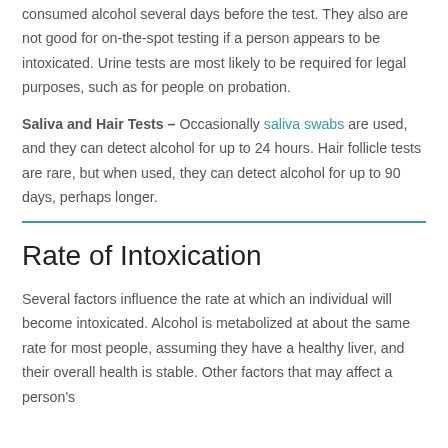consumed alcohol several days before the test. They also are not good for on-the-spot testing if a person appears to be intoxicated. Urine tests are most likely to be required for legal purposes, such as for people on probation.
Saliva and Hair Tests – Occasionally saliva swabs are used, and they can detect alcohol for up to 24 hours. Hair follicle tests are rare, but when used, they can detect alcohol for up to 90 days, perhaps longer.
Rate of Intoxication
Several factors influence the rate at which an individual will become intoxicated. Alcohol is metabolized at about the same rate for most people, assuming they have a healthy liver, and their overall health is stable. Other factors that may affect a person's